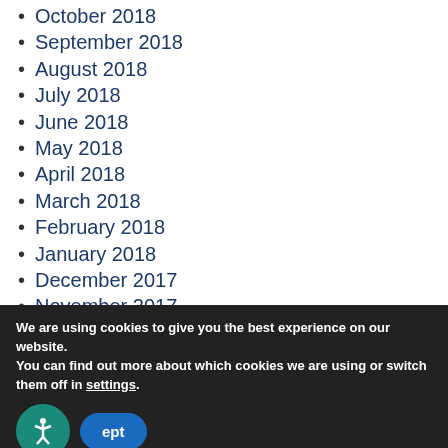October 2018
September 2018
August 2018
July 2018
June 2018
May 2018
April 2018
March 2018
February 2018
January 2018
December 2017
November 2017
October 2017
September 2017
August 2017
We are using cookies to give you the best experience on our website.
You can find out more about which cookies we are using or switch them off in settings.